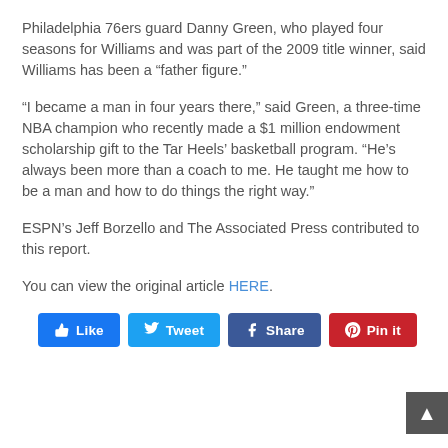Philadelphia 76ers guard Danny Green, who played four seasons for Williams and was part of the 2009 title winner, said Williams has been a “father figure.”
“I became a man in four years there,” said Green, a three-time NBA champion who recently made a $1 million endowment scholarship gift to the Tar Heels’ basketball program. “He’s always been more than a coach to me. He taught me how to be a man and how to do things the right way.”
ESPN’s Jeff Borzello and The Associated Press contributed to this report.
You can view the original article HERE.